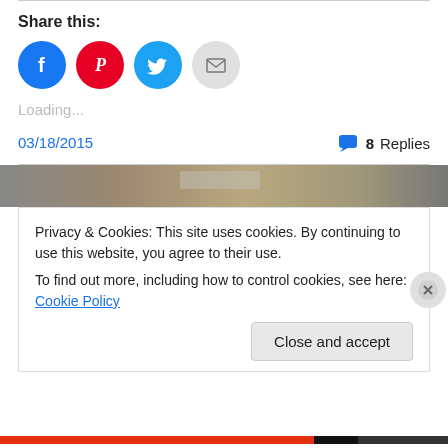Share this:
[Figure (infographic): Social sharing icons: Facebook (blue circle), Pinterest (red circle), Twitter (cyan circle), Email (gray circle)]
Loading...
03/18/2015
8 Replies
[Figure (photo): Blurred/blurred brown and gray image strip at top of next article]
Privacy & Cookies: This site uses cookies. By continuing to use this website, you agree to their use.
To find out more, including how to control cookies, see here: Cookie Policy
Close and accept